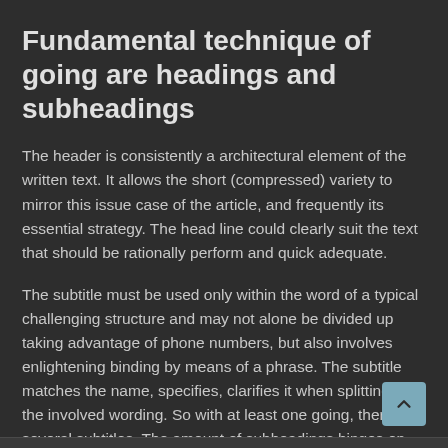Fundamental technique of going are headings and subheadings
The header is consistently a architectural element of the written text. It allows the short (compressed) variety to mirror this issue case of the article, and frequently its essential strategy. The head line could clearly suit the text that should be rationally perform and quick adequate.
The subtitle must be used only within the word of a typical challenging structure and may not alone be divided up taking advantage of phone numbers, but also involves enlightening binding by means of a phrase. The subtitle matches the name, specifies, clarifies it when splitting up the involved wording. So with at least one going, there are several subtitles. The amount of subheadings hinges on the sophistication, volume of txt and issues that are viewed while in the papers.